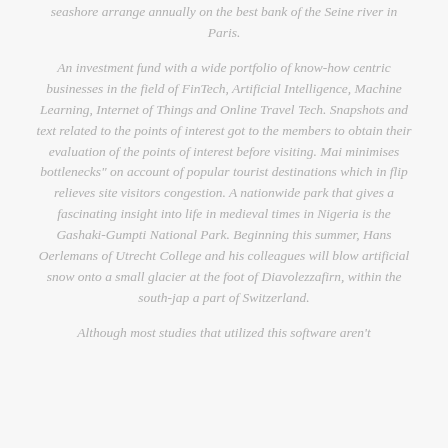seashore arrange annually on the best bank of the Seine river in Paris.
An investment fund with a wide portfolio of know-how centric businesses in the field of FinTech, Artificial Intelligence, Machine Learning, Internet of Things and Online Travel Tech. Snapshots and text related to the points of interest got to the members to obtain their evaluation of the points of interest before visiting. Mai minimises bottlenecks" on account of popular tourist destinations which in flip relieves site visitors congestion. A nationwide park that gives a fascinating insight into life in medieval times in Nigeria is the Gashaki-Gumpti National Park. Beginning this summer, Hans Oerlemans of Utrecht College and his colleagues will blow artificial snow onto a small glacier at the foot of Diavolezzafirn, within the south-jap a part of Switzerland.
Although most studies that utilized this software aren't